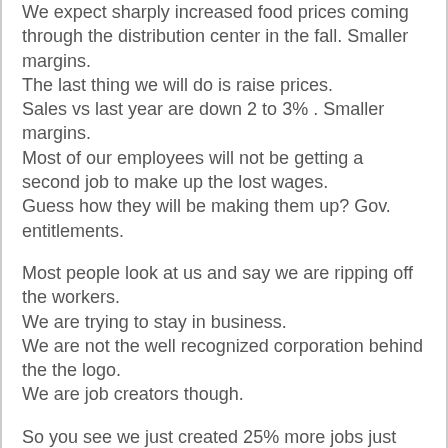We expect sharply increased food prices coming through the distribution center in the fall. Smaller margins.
The last thing we will do is raise prices.
Sales vs last year are down 2 to 3% . Smaller margins.
Most of our employees will not be getting a second job to make up the lost wages.
Guess how they will be making them up? Gov. entitlements.
Most people look at us and say we are ripping off the workers.
We are trying to stay in business.
We are not the well recognized corporation behind the the logo.
We are job creators though.
So you see we just created 25% more jobs just trying to stay in business.
Now you see why the borders are wide open.